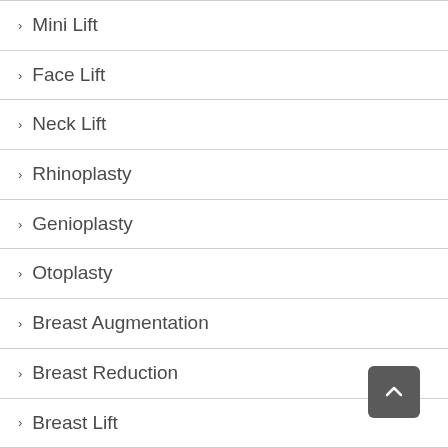Mini Lift
Face Lift
Neck Lift
Rhinoplasty
Genioplasty
Otoplasty
Breast Augmentation
Breast Reduction
Breast Lift